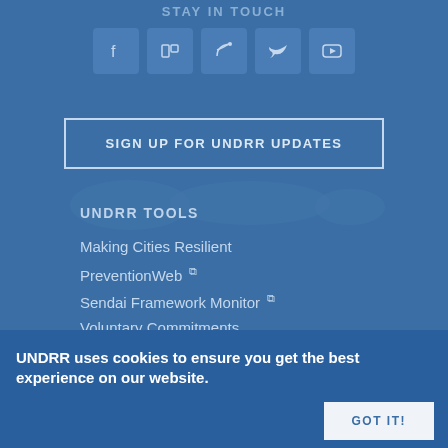STAY IN TOUCH
[Figure (illustration): Row of five social media icon buttons: Facebook, Flickr, RSS, Twitter, YouTube — square icons with rounded corners on a medium blue background]
SIGN UP FOR UNDRR UPDATES
UNDRR TOOLS
Making Cities Resilient
PreventionWeb ⧉
Sendai Framework Monitor ⧉
Voluntary Commitments
UNDRR uses cookies to ensure you get the best experience on our website.
GOT IT!